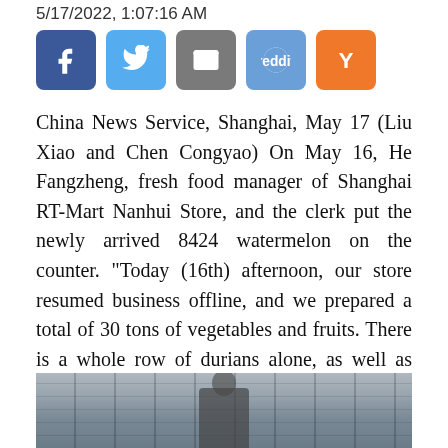5/17/2022, 1:07:16 AM
[Figure (infographic): Social sharing buttons: Facebook (blue), Twitter (light blue), Email (grey), Reddit (blue), Y Combinator (orange)]
China News Service, Shanghai, May 17 (Liu Xiao and Chen Congyao) On May 16, He Fangzheng, fresh food manager of Shanghai RT-Mart Nanhui Store, and the clerk put the newly arrived 8424 watermelon on the counter. "Today (16th) afternoon, our store resumed business offline, and we prepared a total of 30 tons of vegetables and fruits. There is a whole row of durians alone, as well as Narcissus Mango
[Figure (photo): Photo showing a building exterior with structural beams and a person visible at the bottom]